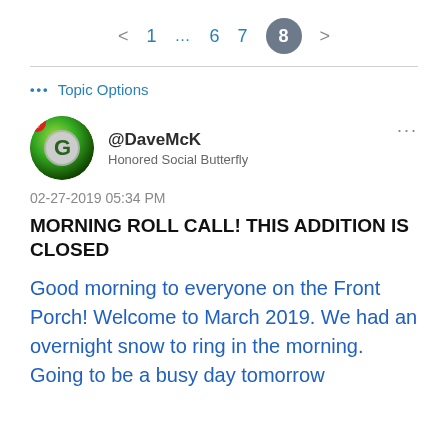< 1 ... 6 7 8 >
... Topic Options
@DaveMcK
Honored Social Butterfly
02-27-2019 05:34 PM
MORNING ROLL CALL! THIS ADDITION IS CLOSED
Good morning to everyone on the Front Porch! Welcome to March 2019. We had an overnight snow to ring in the morning. Going to be a busy day tomorrow